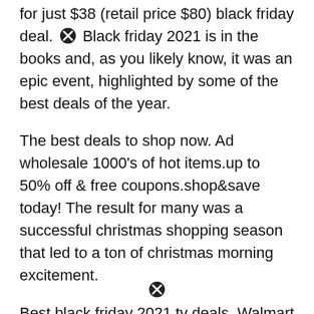for just $38 (retail price $80) black friday deal. Black friday 2021 is in the books and, as you likely know, it was an epic event, highlighted by some of the best deals of the year.
The best deals to shop now. Ad wholesale 1000's of hot items.up to 50% off & free coupons.shop&save today! The result for many was a successful christmas shopping season that led to a ton of christmas morning excitement.
Best black friday 2021 tv deals. Walmart family mobile apple iphone se, $199 (originally $249) walmart. Nordstrom lauren ralph lauren puffer coat , more colors, was $330 now $149.90